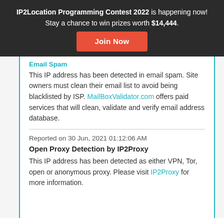IP2Location Programming Contest 2022 is happening now! Stay a chance to win prizes worth $14,444. Join Now
Email Spam
This IP address has been detected in email spam. Site owners must clean their email list to avoid being blacklisted by ISP. MailBoxValidator.com offers paid services that will clean, validate and verify email address database.
Reported on 30 Jun, 2021 01:12:06 AM
Open Proxy Detection by IP2Proxy
This IP address has been detected as either VPN, Tor, open or anonymous proxy. Please visit IP2Proxy for more information.